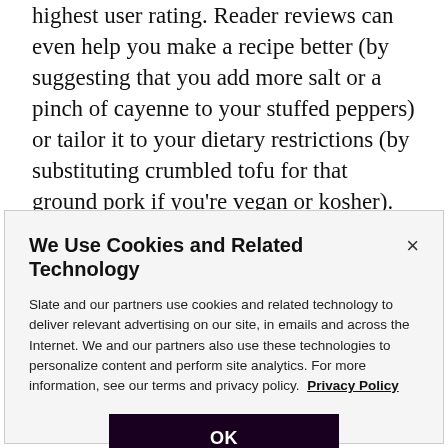highest user rating. Reader reviews can even help you make a recipe better (by suggesting that you add more salt or a pinch of cayenne to your stuffed peppers) or tailor it to your dietary restrictions (by substituting crumbled tofu for that ground pork if you're vegan or kosher). For people who are interested primarily in cooking recipes that taste good, the Internet is a better resource than any cookbook ever was.
We Use Cookies and Related Technology
Slate and our partners use cookies and related technology to deliver relevant advertising on our site, in emails and across the Internet. We and our partners also use these technologies to personalize content and perform site analytics. For more information, see our terms and privacy policy.  Privacy Policy